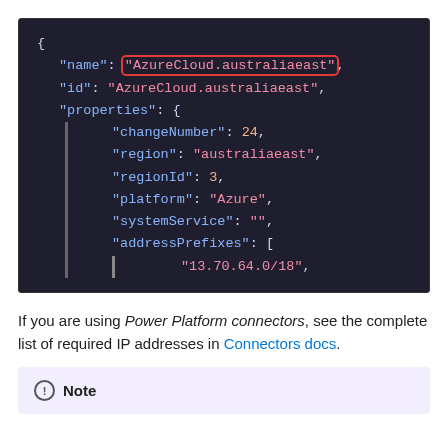[Figure (screenshot): Dark-themed code editor screenshot showing a JSON object with fields: name, id, properties (containing changeNumber: 24, region: australiaeast, regionId: 3, platform: Azure, systemService: empty string, addressPrefixes: [13.70.64.0/18]). The value 'AzureCloud.australiaeast' in the name field is highlighted with a red rectangle border.]
If you are using Power Platform connectors, see the complete list of required IP addresses in Connectors docs.
Note